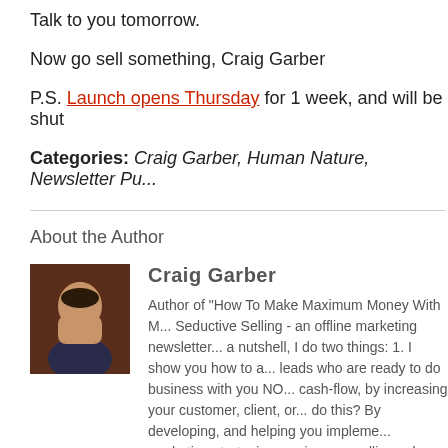Talk to you tomorrow.
Now go sell something, Craig Garber
P.S. Launch opens Thursday for 1 week, and will be shut
Categories: Craig Garber, Human Nature, Newsletter Pu...
About the Author
Craig Garber
Author of "How To Make Maximum Money With M... Seductive Selling - an offline marketing newsletter... a nutshell, I do two things: 1. I show you how to attract leads who are ready to do business with you NO... cash-flow, by increasing your customer, client, or... do this? By developing, and helping you impleme... marketing strategies... using compelling sales me... buy-buttons. I've worked with over 300 clients in... of 2000, and I really enjoy what I do. I'm a stable...